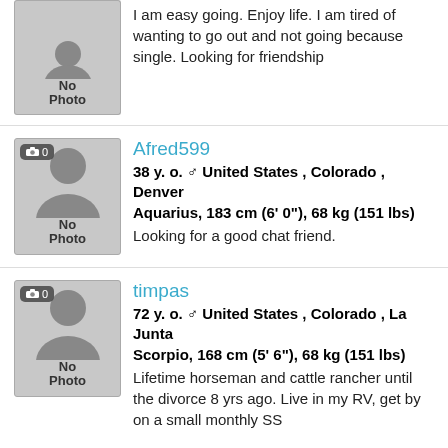I am easy going. Enjoy life. I am tired of wanting to go out and not going because single. Looking for friendship
Afred599
38 y. o. ♂ United States , Colorado , Denver
Aquarius, 183 cm (6' 0"), 68 kg (151 lbs)
Looking for a good chat friend.
timpas
72 y. o. ♂ United States , Colorado , La Junta
Scorpio, 168 cm (5' 6"), 68 kg (151 lbs)
Lifetime horseman and cattle rancher until the divorce 8 yrs ago. Live in my RV, get by on a small monthly SS